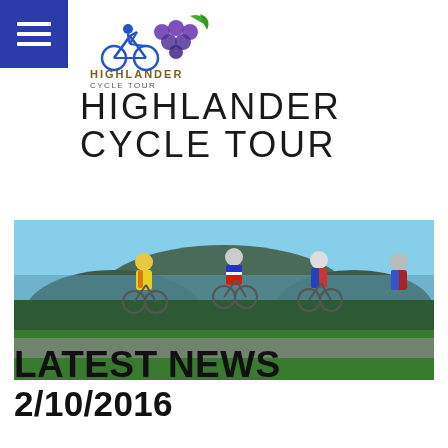[Figure (logo): Highlander Cycle Tour logo with cyclist and grape cluster graphics, text reads HIGHLANDER CYCLE TOUR]
HIGHLANDER CYCLE TOUR
[Figure (photo): Four cyclists riding on a road with a scenic mountain and lake landscape in the background under a blue sky]
LATEST NEWS
2/10/2016